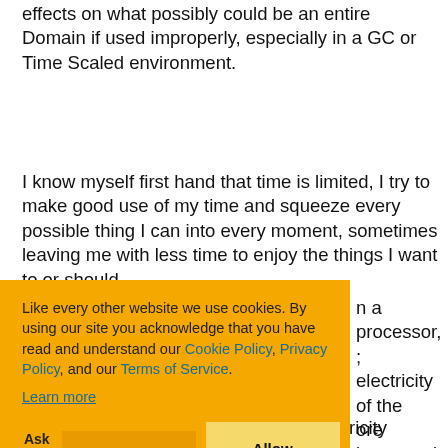effects on what possibly could be an entire Domain if used improperly, especially in a GC or Time Scaled environment.
I know myself first hand that time is limited, I try to make good use of my time and squeeze every possible thing I can into every moment, sometimes leaving me with less time to enjoy the things I want to or should.
[Figure (screenshot): Cookie consent overlay with orange background. Text: 'Like every other website we use cookies. By using our site you acknowledge that you have read and understand our Cookie Policy, Privacy Policy, and our Terms of Service. Learn more'. Buttons: 'Ask me later', 'Decline', 'Allow cookies'. Behind the overlay, partial text of the main article is visible on the right side.]
The smaller and smaller things get electricity